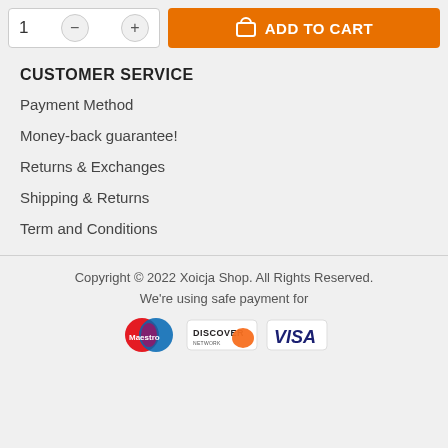[Figure (screenshot): Add to cart UI with quantity selector showing '1' with minus and plus buttons, and an orange 'ADD TO CART' button with shopping bag icon]
CUSTOMER SERVICE
Payment Method
Money-back guarantee!
Returns & Exchanges
Shipping & Returns
Term and Conditions
Copyright © 2022 Xoicja Shop. All Rights Reserved.
We're using safe payment for
[Figure (logo): Payment method logos: Maestro, Discover, Visa]